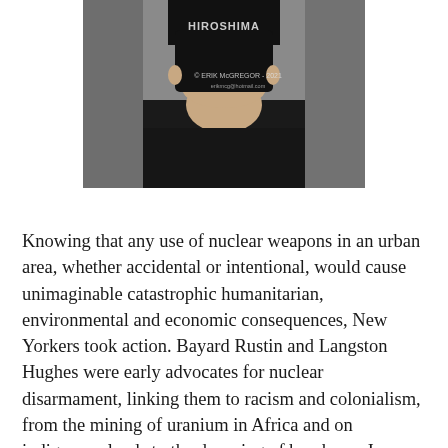[Figure (photo): A person wearing a black face mask with 'HIROSHIMA' text and a black t-shirt. Watermark reads '© ERIK McGREGOR - 2021' with email below.]
Knowing that any use of nuclear weapons in an urban area, whether accidental or intentional, would cause unimaginable catastrophic humanitarian, environmental and economic consequences, New Yorkers took action. Bayard Rustin and Langston Hughes were early advocates for nuclear disarmament, linking them to racism and colonialism, from the mining of uranium in Africa and on indigenous lands to the dropping of bombs on Japan and the testing of thermo-nuclear weapons on the people of the Marshall Islands and Bikini Atoll. Walter Nagle